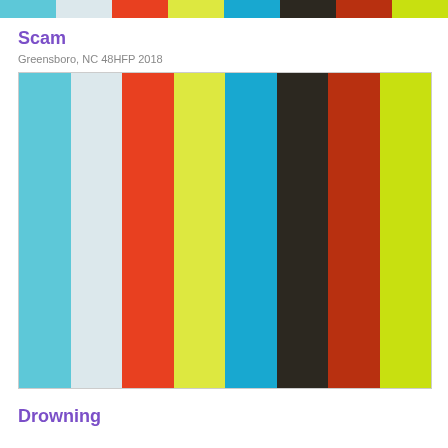[Figure (infographic): Top color palette strip showing 8 color swatches: teal/cyan, light gray, orange-red, yellow-green, blue/cyan, dark brown/charcoal, dark red/brown, yellow-green]
Scam
Greensboro, NC 48HFP 2018
[Figure (infographic): Large color palette showing 8 vertical stripes: cyan/sky blue, light gray-blue, orange-red, yellow-green/lime, blue/cyan, dark brown/charcoal, dark red/brown, yellow-green/chartreuse]
Drowning